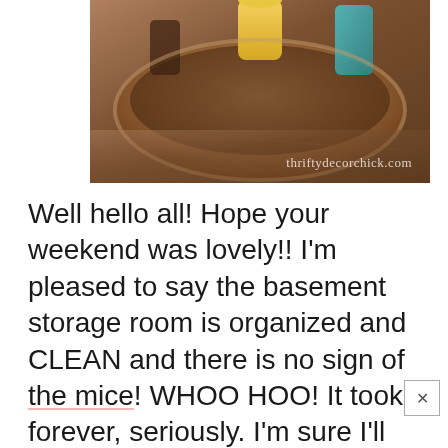[Figure (photo): Close-up photo of items in a wooden bowl or container, warm tones, with watermark 'thriftydecorchick.com' in lower right corner]
Well hello all! Hope your weekend was lovely!! I'm pleased to say the basement storage room is organized and CLEAN and there is no sign of the mice! WHOO HOO! It took forever, seriously. I'm sure I'll share it's organized bliss with you soon.
Today I'm kicking off a fun little shindig I've got going...I'm pinching myself because I'm partnering up with Target